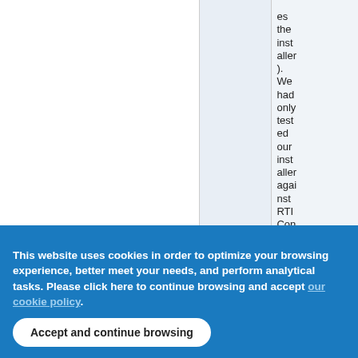es the installer). We had only tested our installer against RTI Connext DDS hosts, whic
This website uses cookies in order to optimize your browsing experience, better meet your needs, and perform analytical tasks. Please click here to continue browsing and accept our cookie policy.